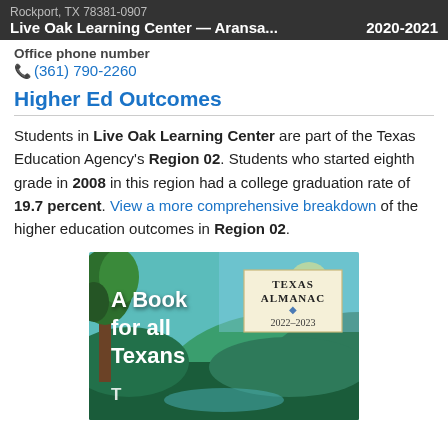Live Oak Learning Center — Aransa... 2020-2021
Rockport, TX 78381-0907
Office phone number
(361) 790-2260
Higher Ed Outcomes
Students in Live Oak Learning Center are part of the Texas Education Agency's Region 02. Students who started eighth grade in 2008 in this region had a college graduation rate of 19.7 percent. View a more comprehensive breakdown of the higher education outcomes in Region 02.
[Figure (illustration): Advertisement for Texas Almanac 2022-2023 book. Shows a nature scene with trees and water. Text reads 'A Book for all Texans' with Texas Almanac 2022-2023 badge.]